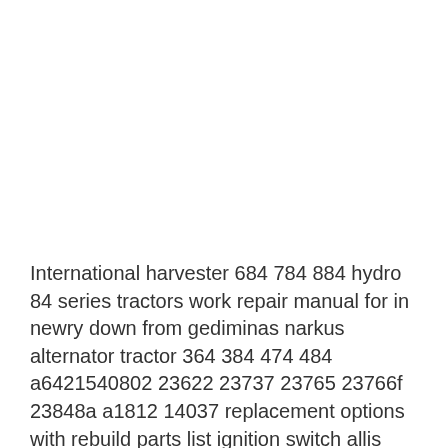International harvester 684 784 884 hydro 84 series tractors work repair manual for in newry down from gediminas narkus alternator tractor 364 384 474 484 a6421540802 23622 23737 23765 23766f 23848a a1812 14037 replacement options with rebuild parts list ignition switch allis binemote massey compact case ih 5120